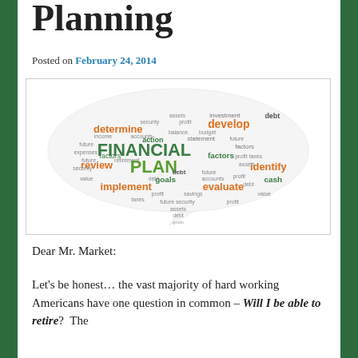Planning
Posted on February 24, 2014
[Figure (infographic): Word cloud in speech bubble shape featuring financial planning terms. Large green text: FINANCIAL PLAN. Orange text: determine, develop, review, implement, evaluate, identify. Other terms: investment, debt, assets, security, profit, budget, balance, accounts, action, statement, factors, income, retirement, goals, cash, savings, taxes, future, value, factors, loss, expenses.]
Dear Mr. Market:
Let's be honest… the vast majority of hard working Americans have one question in common – Will I be able to retire?  The